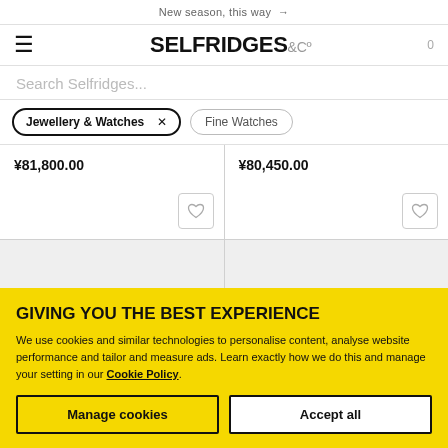New season, this way →
[Figure (logo): Selfridges & Co logo with hamburger menu icon on the left and cart count 0 on the right]
Search Selfridges...
Jewellery & Watches ×   Fine Watches
¥81,800.00
¥80,450.00
GIVING YOU THE BEST EXPERIENCE
We use cookies and similar technologies to personalise content, analyse website performance and tailor and measure ads. Learn exactly how we do this and manage your setting in our Cookie Policy.
Manage cookies
Accept all